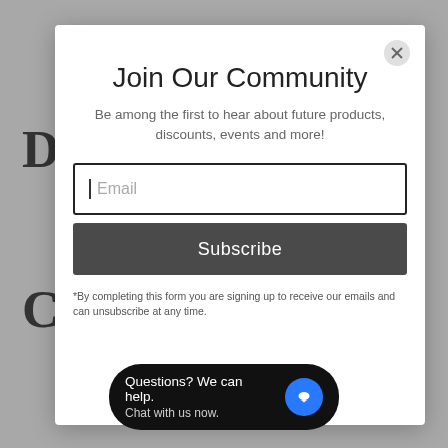Join Our Community
Be among the first to hear about future products, discounts, events and more!
Email
Subscribe
*By completing this form you are signing up to receive our emails and can unsubscribe at any time.
Questions? We can help. Chat with us now.